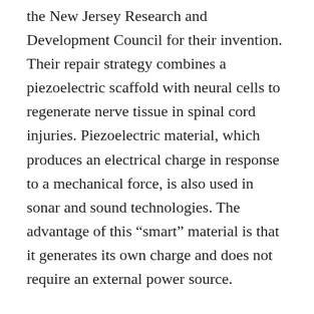the New Jersey Research and Development Council for their invention. Their repair strategy combines a piezoelectric scaffold with neural cells to regenerate nerve tissue in spinal cord injuries. Piezoelectric material, which produces an electrical charge in response to a mechanical force, is also used in sonar and sound technologies. The advantage of this “smart” material is that it generates its own charge and does not require an external power source.
“Axons – the fibers that transmit messages – can potentially travel long distances if given the right cues to regrow. We knew that an electrical charge could direct this growth,” Arinzeh says, adding, “Some tissues in the